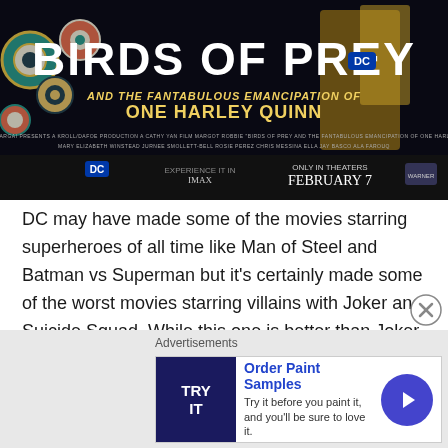[Figure (photo): Birds of Prey DC movie poster. Title text 'BIRDS OF PREY' in large white letters with DC logo. Subtitle 'AND THE FANTABULOUS EMANCIPATION OF ONE HARLEY QUINN' in yellow graffiti-style text. 'ONLY IN THEATERS FEBRUARY 7' at the bottom. Colorful cartoon eyes and characters in background.]
DC may have made some of the movies starring superheroes of all time like Man of Steel and Batman vs Superman but it's certainly made some of the worst movies starring villains with Joker and Suicide Squad. While this one is better than Joker, it's still at a really low level and feels like it is picking up where Suicide Squad left off in a lot of the worst ways. The more we get films
[Figure (infographic): Advertisement banner. Label 'Advertisements'. Ad shows 'TRY IT' logo on dark blue background, text 'Order Paint Samples' in blue bold, 'Try it before you paint it, and you'll be sure to love it.' with a blue circular arrow button.]